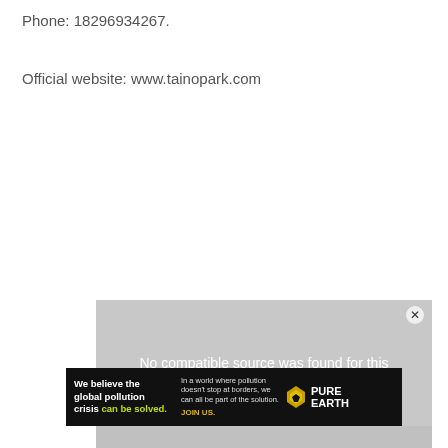Phone: 18296934267.
Official website: www.tainopark.com
[Figure (screenshot): A video player area showing 'No compatible source was found for this media.' overlay message on a gray background with partial animal imagery below.]
[Figure (infographic): Pure Earth advertisement banner: 'We believe the global pollution crisis can be solved.' with yellow-green highlighted text, tagline about pollution crossing borders, JOIN US call to action in gold, and Pure Earth logo on black background.]